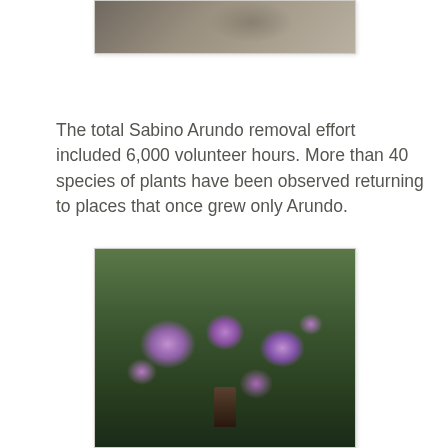[Figure (photo): Partial view of a landscape/outdoor scene showing sandy ground and grassy plants, top portion cropped]
The total Sabino Arundo removal effort included 6,000 volunteer hours. More than 40 species of plants have been observed returning to places that once grew only Arundo.
[Figure (photo): Purple wildflowers (verbena or similar) growing around a cut tree stump or log, with green foliage in a natural desert garden setting]